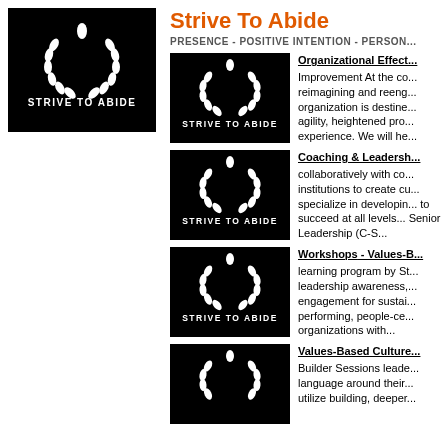[Figure (logo): Strive To Abide logo — black background with white laurel wreath and text STRIVE TO ABIDE]
Strive To Abide
PRESENCE - POSITIVE INTENTION - PERSON...
[Figure (logo): Strive To Abide logo thumbnail]
Organizational Effect... Improvement At the co... reimagining and reeng... organization is destine... agility, heightened pro... experience. We will he...
[Figure (logo): Strive To Abide logo thumbnail]
Coaching & Leadersh... collaboratively with co... institutions to create cu... specialize in developin... to succeed at all levels... Senior Leadership (C-S...
[Figure (logo): Strive To Abide logo thumbnail]
Workshops - Values-B... learning program by St... leadership awareness,... engagement for sustai... performing, people-ce... organizations with...
[Figure (logo): Strive To Abide logo thumbnail]
Values-Based Culture... Builder Sessions leade... language around their... utilize building, deeper...